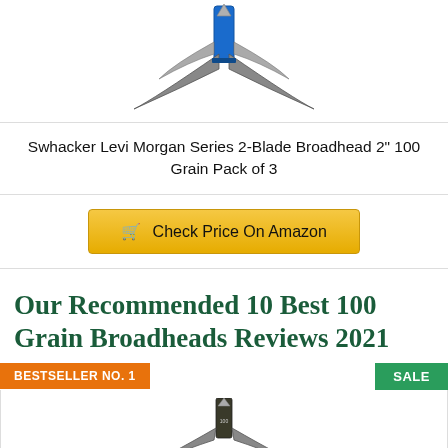[Figure (photo): Swhacker Levi Morgan Series 2-Blade Broadhead product image — a mechanical broadhead with blue/metal body and swept blades, viewed from above.]
Swhacker Levi Morgan Series 2-Blade Broadhead 2" 100 Grain Pack of 3
Check Price On Amazon
Our Recommended 10 Best 100 Grain Broadheads Reviews 2021
BESTSELLER NO. 1
SALE
[Figure (photo): Broadhead product image partially visible — a fixed-blade broadhead with dark body and swept blades, partially cropped at bottom of page.]